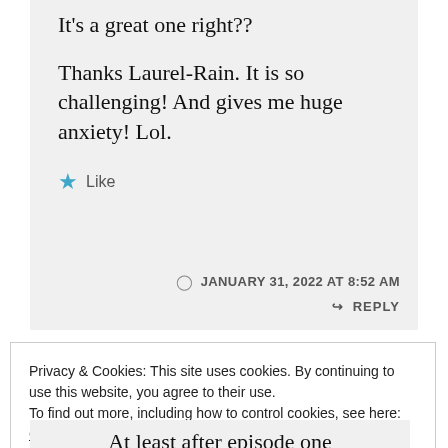It's a great one right??
Thanks Laurel-Rain. It is so challenging! And gives me huge anxiety! Lol.
★ Like
JANUARY 31, 2022 AT 8:52 AM
↳ REPLY
Privacy & Cookies: This site uses cookies. By continuing to use this website, you agree to their use. To find out more, including how to control cookies, see here: Cookie Policy
Close and accept
At least after episode one